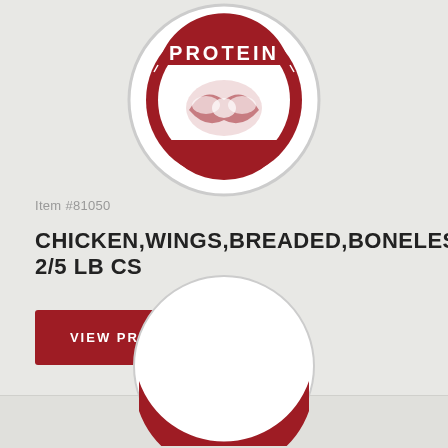[Figure (logo): Round protein badge logo with red circular border and white text PROTEIN and chicken/food illustration in center]
Item #81050
CHICKEN,WINGS,BREADED,BONELESS 2/5 LB CS
VIEW PRODUCT
[Figure (logo): Round Piazza brand logo partially visible, white circle with red band showing PIAZZA text]